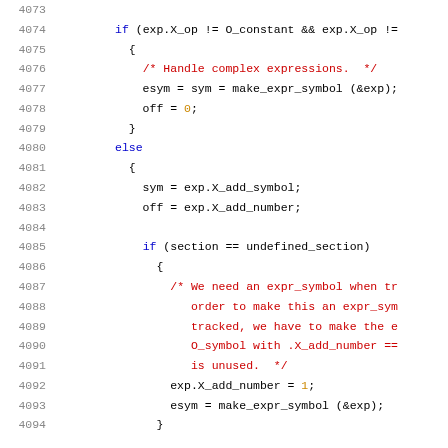Source code listing lines 4073-4093, C code with syntax highlighting showing if/else conditional logic for handling expressions and symbols